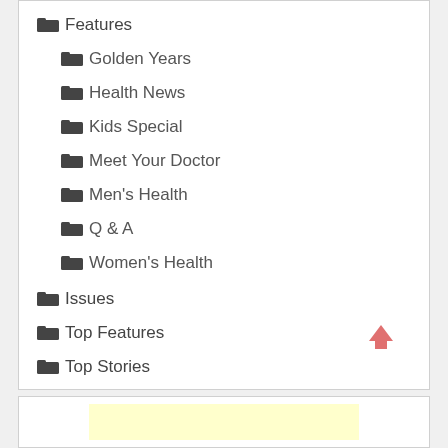Features
Golden Years
Health News
Kids Special
Meet Your Doctor
Men's Health
Q & A
Women's Health
Issues
Top Features
Top Stories
Uncategorized
[Figure (other): Yellow highlighted rectangle at the bottom of the page]